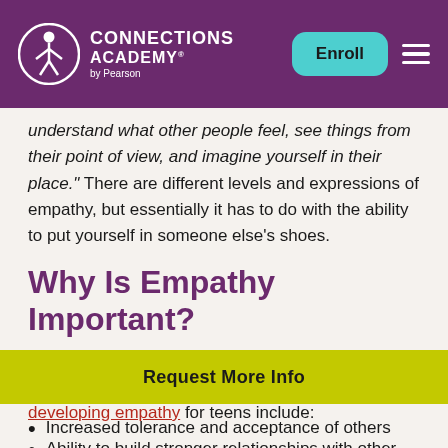Connections Academy by Pearson — Enroll
understand what other people feel, see things from their point of view, and imagine yourself in their place." There are different levels and expressions of empathy, but essentially it has to do with the ability to put yourself in someone else's shoes.
Why Is Empathy Important?
Empathy is an important emotional response that has many benefits. Some of the benefits of developing empathy for teens include:
Ability to build stronger relationships with other teens and educators
Increased tolerance and acceptance of others